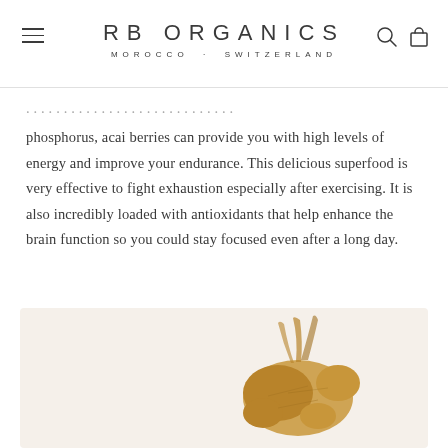RB ORGANICS · MOROCCO · SWITZERLAND
phosphorus, acai berries can provide you with high levels of energy and improve your endurance. This delicious superfood is very effective to fight exhaustion especially after exercising. It is also incredibly loaded with antioxidants that help enhance the brain function so you could stay focused even after a long day.
[Figure (photo): A ginger root photographed against a light background]